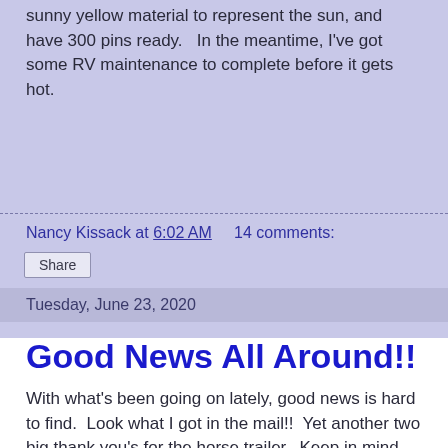sunny yellow material to represent the sun, and have 300 pins ready.  In the meantime, I've got some RV maintenance to complete before it gets hot.
Nancy Kissack at 6:02 AM     14 comments:
Share
Tuesday, June 23, 2020
Good News All Around!!
With what's been going on lately, good news is hard to find.  Look what I got in the mail!!  Yet another two big thank you's for the horse trailer.  Keep in mind, I've already been thanked multiple times in person and several times more